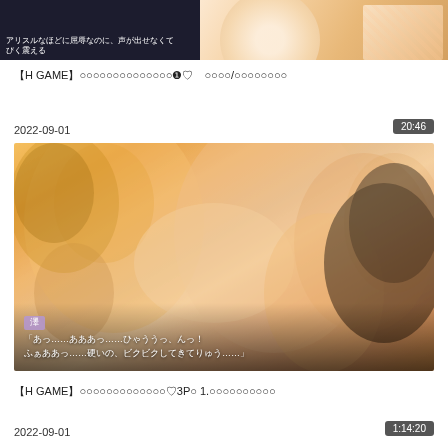[Figure (screenshot): Top partial anime illustration strip showing two scenes side by side - left dark background with Japanese text, right pink/warm toned character image]
【H GAME】○○○○○○○○○○○○○○❶♡　○○○○/○○○○○○○○
2022-09-01
20:46
[Figure (screenshot): Anime illustration showing two female characters in intimate scene, with Japanese dialogue text overlay reading: 「あっ……あああっ……ひゃううっ、んっ！ふぁああっ……硬いの、ビクビクしてきてりゅう……」and a purple name tag]
【H GAME】○○○○○○○○○○○○○♡3P○ 1.○○○○○○○○○○
2022-09-01
1:14:20